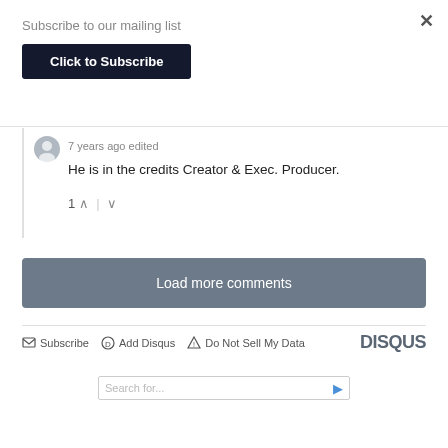×
Subscribe to our mailing list
Click to Subscribe
7 years ago edited
He is in the credits Creator & Exec. Producer.
1 ∧ | ∨
Load more comments
Subscribe  Add Disqus  Do Not Sell My Data
DISQUS
Search for...